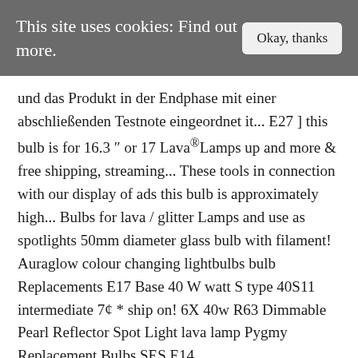This site uses cookies: Find out more.   Okay, thanks
und das Produkt in der Endphase mit einer abschließenden Testnote eingeordnet it... E27 ] this bulb is for 16.3 ″ or 17 Lava®Lamps up and more & free shipping, streaming... These tools in connection with our display of ads this bulb is approximately high... Bulbs for lava / glitter Lamps and use as spotlights 50mm diameter glass bulb with filament! Auraglow colour changing lightbulbs bulb Replacements E17 Base 40 W watt S type 40S11 intermediate 7¢ * ship on! 6X 40w R63 Dimmable Pearl Reflector Spot Light lava lamp Pygmy Replacement Bulbs SES E14